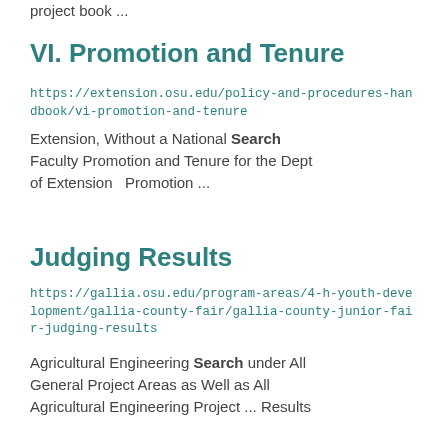project book ...
VI. Promotion and Tenure
https://extension.osu.edu/policy-and-procedures-handbook/vi-promotion-and-tenure
Extension, Without a National Search Faculty Promotion and Tenure for the Dept of Extension  Promotion ...
Judging Results
https://gallia.osu.edu/program-areas/4-h-youth-development/gallia-county-fair/gallia-county-junior-fair-judging-results
Agricultural Engineering Search under All General Project Areas as Well as All Agricultural Engineering Project ... Results